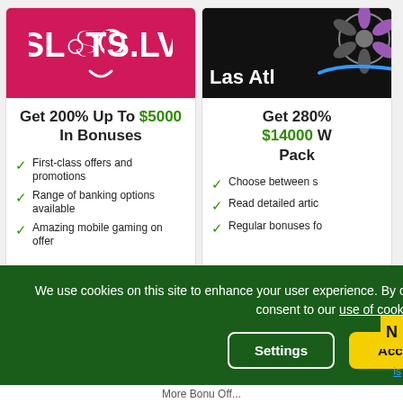[Figure (logo): Slots.LV casino logo on pink/red background]
Get 200% Up To $5000 In Bonuses
First-class offers and promotions
Range of banking options available
Amazing mobile gaming on offer
[Figure (logo): Las Atlantis casino logo on black background with spinning wheel graphic]
Get 280% $14000 W... Pack...
Choose between s...
Read detailed artic...
Regular bonuses fo...
We use cookies on this site to enhance your user experience. By clicking any link on this page, you are giving consent to our use of cookies.
Settings
Accept